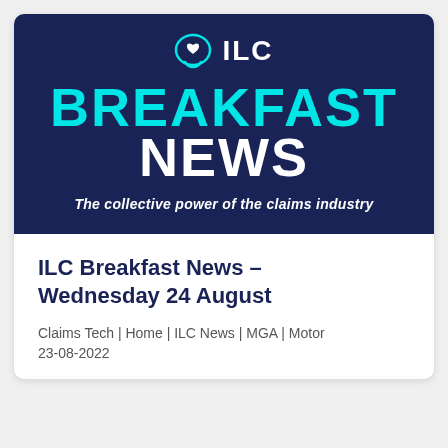[Figure (logo): ILC Breakfast News banner with dark navy background. ILC logo (chat bubble with heart icon) top center, large cyan BREAKFAST and white NEWS text, tagline: The collective power of the claims industry]
ILC Breakfast News – Wednesday 24 August
Claims Tech | Home | ILC News | MGA | Motor
23-08-2022